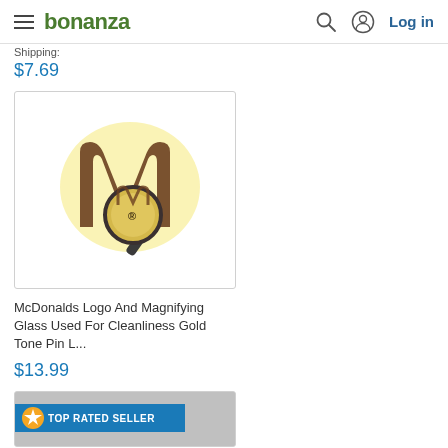bonanza  Log in
Shipping:
$7.69
[Figure (photo): McDonald's golden arches logo overlaid with a magnifying glass showing a registered trademark symbol, gold tone pin on white background]
McDonalds Logo And Magnifying Glass Used For Cleanliness Gold Tone Pin L...
$13.99
[Figure (photo): Product listing with TOP RATED SELLER badge overlay on gray background]